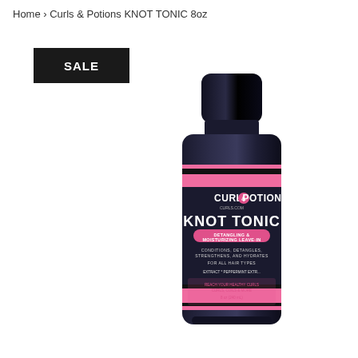Home › Curls & Potions KNOT TONIC 8oz
SALE
[Figure (photo): Product photo of Curls & Potions KNOT TONIC 8oz bottle. Black cylindrical bottle with a black cap. Label features pink and black stripes. Text on label reads: CURLS & POTIONS, KNOT TONIC, DETANGLING & MOISTURIZING LEAVE-IN, CONDITIONS, DETANGLES, STRENGTHENS, AND HYDRATES, FOR ALL HAIR TYPES, EXTRACT * PEPPERMINT EXTRACT, 8 oz (240 mL).]